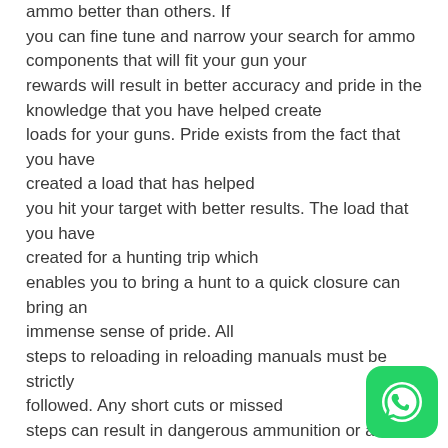ammo better than others. If you can fine tune and narrow your search for ammo components that will fit your gun your rewards will result in better accuracy and pride in the knowledge that you have helped create loads for your guns. Pride exists from the fact that you have created a load that has helped you hit your target with better results. The load that you have created for a hunting trip which enables you to bring a hunt to a quick closure can bring an immense sense of pride. All steps to reloading in reloading manuals must be strictly followed. Any short cuts or missed steps can result in dangerous ammunition or ammo that will not load or function in your firearm.

A clean and safe work place is the first starting point. Le... sells adequate loading supplies